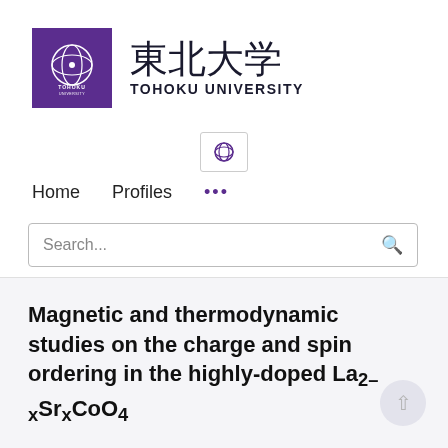[Figure (logo): Tohoku University logo: purple square with white circular emblem, Japanese text 東北大学 and TOHOKU UNIVERSITY]
[Figure (other): Globe/language selector icon button]
Home   Profiles   ...
Search...
Magnetic and thermodynamic studies on the charge and spin ordering in the highly-doped La2-xSrxCoO4